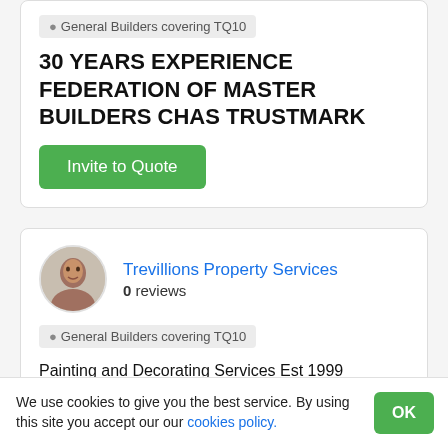General Builders covering TQ10
30 YEARS EXPERIENCE FEDERATION OF MASTER BUILDERS CHAS TRUSTMARK
Invite to Quote
Trevillions Property Services
0 reviews
General Builders covering TQ10
Painting and Decorating Services Est 1999 Refurbishments of houses,shops,schools etc
We use cookies to give you the best service. By using this site you accept our our cookies policy.